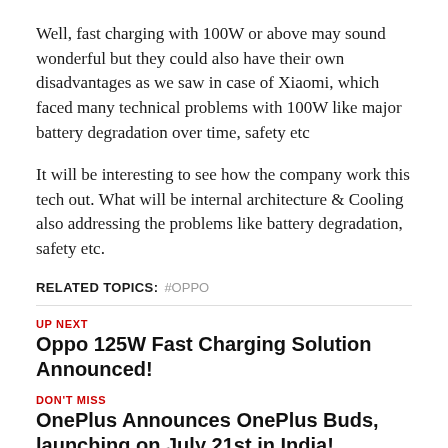Well, fast charging with 100W or above may sound wonderful but they could also have their own disadvantages as we saw in case of Xiaomi, which faced many technical problems with 100W like major battery degradation over time, safety etc
It will be interesting to see how the company work this tech out. What will be internal architecture & Cooling also addressing the problems like battery degradation, safety etc.
RELATED TOPICS: #OPPO
UP NEXT
Oppo 125W Fast Charging Solution Announced!
DON'T MISS
OnePlus Announces OnePlus Buds, launching on July 21st in India!